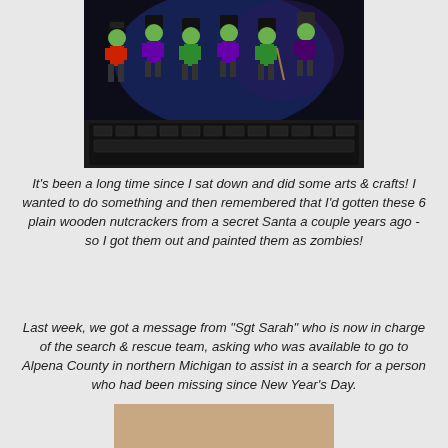[Figure (photo): Six wooden nutcracker figurines painted as zombies with green faces, black hats, and colorful (red, purple, green) uniforms, displayed on a keyboard against a dark blue background.]
It's been a long time since I sat down and did some arts & crafts!  I wanted to do something and then remembered that I'd gotten these 6 plain wooden nutcrackers from a secret Santa a couple years ago - so I got them out and painted them as zombies!
Last week, we got a message from "Sgt Sarah" who is now in charge of the search & rescue team, asking who was available to go to Alpena County in northern Michigan to assist in a search for a person who had been missing since New Year's Day.
[Figure (photo): Partial view of a brown cardboard box or envelope at the bottom of the page.]